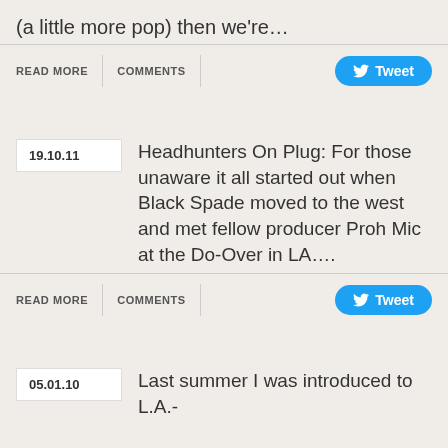(a little more pop) then we're…
READ MORE   COMMENTS   Tweet
19.10.11   Headhunters On Plug: For those unaware it all started out when Black Spade moved to the west and met fellow producer Proh Mic at the Do-Over in LA….
READ MORE   COMMENTS   Tweet
05.01.10   Last summer I was introduced to L.A.-